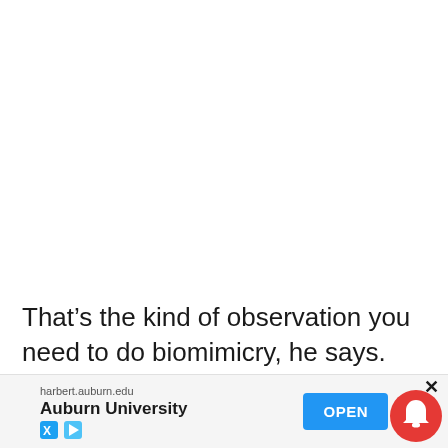That’s the kind of observation you need to do biomimicry, he says.
“Understanding the elliptical energy pathwa…
[Figure (screenshot): Advertisement banner for Auburn University (harbert.auburn.edu) with an OPEN button, X close button, and a notification bell icon overlay.]